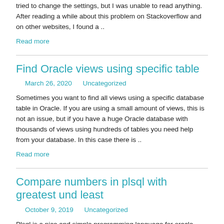tried to change the settings, but I was unable to read anything. After reading a while about this problem on Stackoverflow and on other websites, I found a ..
Read more
Find Oracle views using specific table
March 26, 2020    Uncategorized
Sometimes you want to find all views using a specific database table in Oracle. If you are using a small amount of views, this is not an issue, but if you have a huge Oracle database with thousands of views using hundreds of tables you need help from your database. In this case there is ..
Read more
Compare numbers in plsql with greatest und least
October 9, 2019    Uncategorized
Plsql is a nice and simple programming language for oracle..